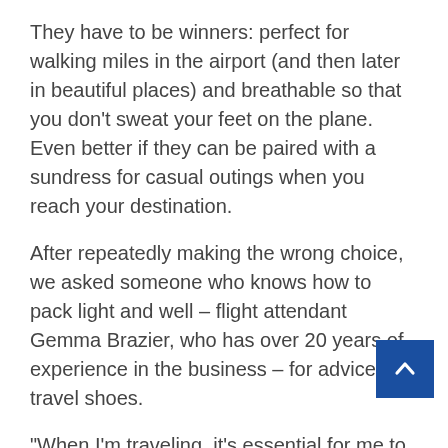They have to be winners: perfect for walking miles in the airport (and then later in beautiful places) and breathable so that you don't sweat your feet on the plane. Even better if they can be paired with a sundress for casual outings when you reach your destination.
After repeatedly making the wrong choice, we asked someone who knows how to pack light and well – flight attendant Gemma Brazier, who has over 20 years of experience in the business – for advice on travel shoes.
"When I'm traveling, it's essential for me to have a versatile pair of sneakers that I can mix and match with various outfits and are also super comfortable when I'm out exploring," says Brazier, who has traveled to the Brazil, Kenya, China, Australia and beyond. She told us a pair of stylish quilted leather sneakers from Veja: "I love these Veja Esplar sneakers because they look so stylish and go with everything."